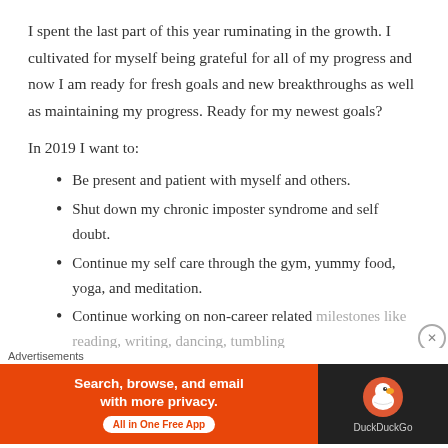I spent the last part of this year ruminating in the growth. I cultivated for myself being grateful for all of my progress and now I am ready for fresh goals and new breakthroughs as well as maintaining my progress. Ready for my newest goals?
In 2019 I want to:
Be present and patient with myself and others.
Shut down my chronic imposter syndrome and self doubt.
Continue my self care through the gym, yummy food, yoga, and meditation.
Continue working on non-career related milestones like reading, writing, dancing, tumbling
Advertisements
[Figure (other): DuckDuckGo advertisement banner: orange section with text 'Search, browse, and email with more privacy. All in One Free App' and dark section with DuckDuckGo logo and name.]